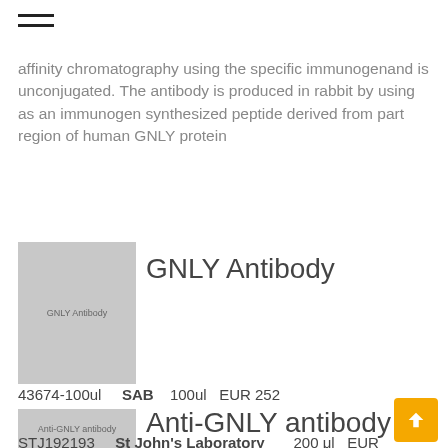≡
affinity chromatography using the specific immunogenand is unconjugated. The antibody is produced in rabbit by using as an immunogen synthesized peptide derived from part region of human GNLY protein
[Figure (photo): Product thumbnail labeled 'GNLY Antibody' on grey background]
GNLY Antibody
43674-100ul   SAB  100ul  EUR 252
[Figure (photo): Product thumbnail labeled 'Anti-GNLY antibody' on grey background]
Anti-GNLY antibody
STJ192193   St John's Laboratory   200 μl  EUR
Description: Unconjugated Rabbit polyclonal to GNLY